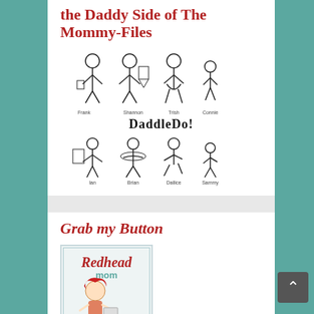the Daddy Side of The Mommy-Files
[Figure (illustration): DaddleDo! logo with stick figure family members labeled Frank, Shannon, Trish, Connie (top row) and Ian, Brian, Dallice, Sammy (bottom row)]
Grab my Button
[Figure (logo): Redhead mom blog button showing illustrated redhead woman with text 'Redhead mom']
<center><a